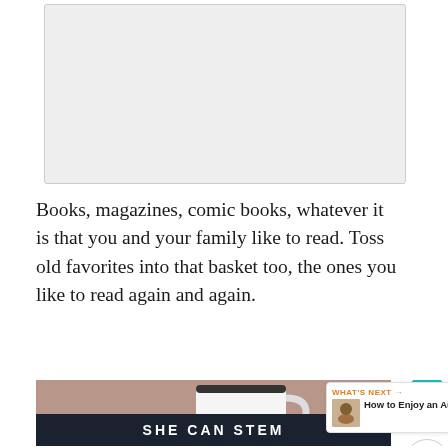[Figure (photo): Top portion of a photo (partially visible at top of page), appears to show cozy reading scene]
Books, magazines, comic books, whatever it is that you and your family like to read. Toss old favorites into that basket too, the ones you like to read again and again.
[Figure (photo): Photo of a white enamel mug with dark rim, glasses, and a book on a dark surface, with bokeh fairy lights in background. Overlaid at bottom with a dark banner reading SHE CAN STEM. Social sidebar shows heart icon, count 420, share icon. What's Next card shows 'How to Enjoy an Autumn...']